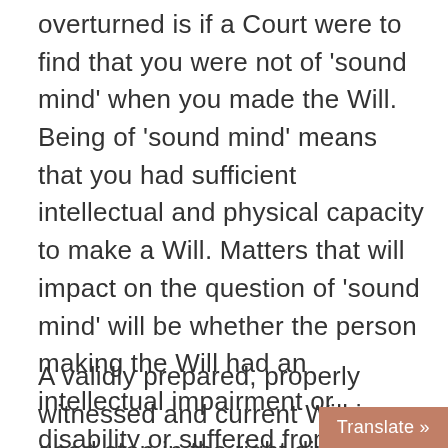overturned is if a Court were to find that you were not of 'sound mind' when you made the Will. Being of 'sound mind' means that you had sufficient intellectual and physical capacity to make a Will. Matters that will impact on the question of 'sound mind' will be whether the person making the Will had an intellectual impairment or disability or suffered from memory loss, dementia or some other serious illness.
A validly prepared, properly witnessed and current Will is a good step in the right direction in ensuring that your d[irections are followed]